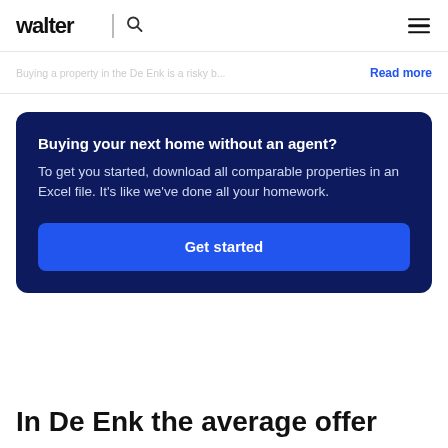walter
Buying a property in the De Enk is a risky b...
Read more
Buying your next home without an agent?
To get you started, download all comparable properties in an Excel file. It's like we've done all your homework.
Get started
In De Enk the average offer